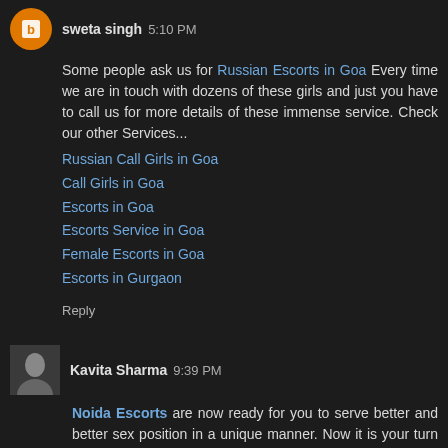sweta singh 5:10 PM
Some people ask us for Russian Escorts in Goa Every time we are in touch with dozens of these girls and just you have to call us for more details of these immense service. Check our other Services...
Russian Call Girls in Goa
Call Girls in Goa
Escorts in Goa
Escorts Service in Goa
Female Escorts in Goa
Escorts in Gurgaon
Reply
Kavita Sharma 9:39 PM
Noida Escorts are now ready for you to serve better and better sex position in a unique manner. Now it is your turn to find a new partner for sex again and again with Noida